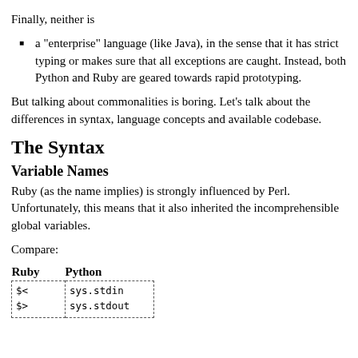Finally, neither is
a "enterprise" language (like Java), in the sense that it has strict typing or makes sure that all exceptions are caught. Instead, both Python and Ruby are geared towards rapid prototyping.
But talking about commonalities is boring. Let's talk about the differences in syntax, language concepts and available codebase.
The Syntax
Variable Names
Ruby (as the name implies) is strongly influenced by Perl. Unfortunately, this means that it also inherited the incomprehensible global variables.
Compare:
| Ruby | Python |
| --- | --- |
| $<
$> | sys.stdin
sys.stdout |